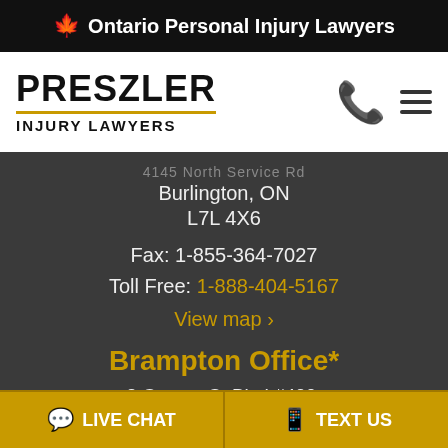🍁 Ontario Personal Injury Lawyers
[Figure (logo): Preszler Injury Lawyers logo with phone and hamburger menu icons]
Burlington, ON
L7L 4X6
Fax: 1-855-364-7027
Toll Free: 1-888-404-5167
View map ›
Brampton Office*
2 County Ct Blvd #400,
Brampton, ON
LIVE CHAT  |  TEXT US